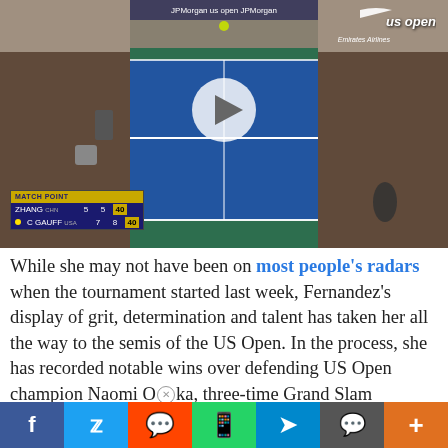[Figure (screenshot): US Open tennis match video thumbnail showing aerial view of blue hard court with players, crowd in stands, MATCH POINT scoreboard showing ZHANG CHN 5 5 [40] vs C GAUFF USA 7 8 [40], US Open logo top right, play button in center]
While she may not have been on most people's radars when the tournament started last week, Fernandez's display of grit, determination and talent has taken her all the way to the semis of the US Open. In the process, she has recorded notable wins over defending US Open champion Naomi OⓇka, three-time Grand Slam champion Angelique Kerber,
f  Twitter  Reddit  WhatsApp  Telegram  Comment  +